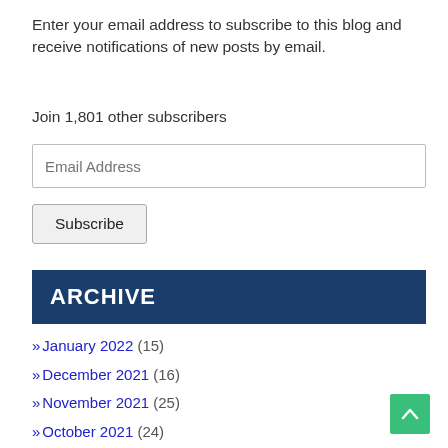Enter your email address to subscribe to this blog and receive notifications of new posts by email.
Join 1,801 other subscribers
ARCHIVE
January 2022 (15)
December 2021 (16)
November 2021 (25)
October 2021 (24)
September 2021 (16)
August 2021 (13)